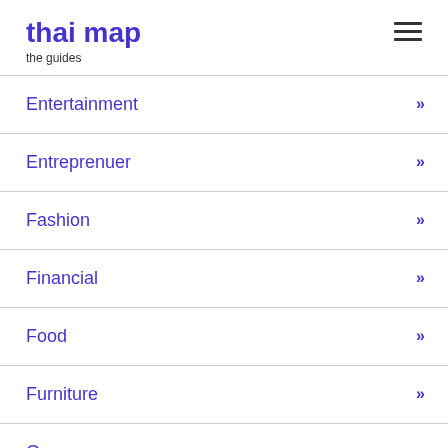thai map
the guides
Entertainment
Entreprenuer
Fashion
Financial
Food
Furniture
Games